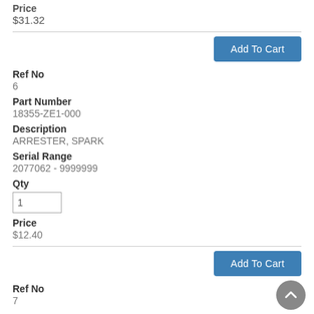Price
$31.32
Add To Cart
Ref No
6
Part Number
18355-ZE1-000
Description
ARRESTER, SPARK
Serial Range
2077062 - 9999999
Qty
1
Price
$12.40
Add To Cart
Ref No
7